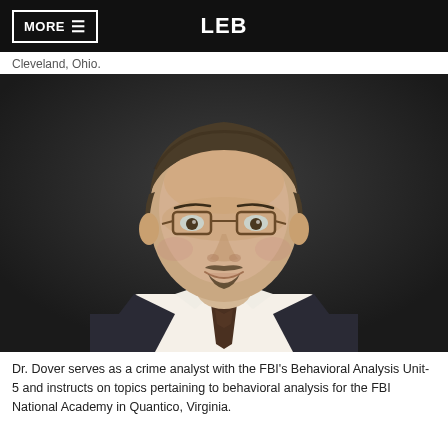MORE ≡  LEB
Cleveland, Ohio.
[Figure (photo): Professional headshot of Dr. Dover, a man with short brown hair, glasses, goatee, wearing a dark suit with white shirt and patterned tie, against a dark background.]
Dr. Dover serves as a crime analyst with the FBI's Behavioral Analysis Unit-5 and instructs on topics pertaining to behavioral analysis for the FBI National Academy in Quantico, Virginia.